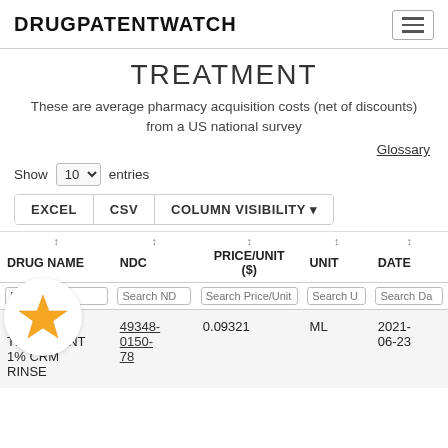DRUGPATENTWATCH
TREATMENT
These are average pharmacy acquisition costs (net of discounts) from a US national survey
Glossary
Show 10 entries
EXCEL  CSV  COLUMN VISIBILITY
| DRUG NAME | NDC | PRICE/UNIT ($) | UNIT | DATE |
| --- | --- | --- | --- | --- |
| SM LICE TREATMENT 1% CRM RINSE | 49348-0150-78 | 0.09321 | ML | 2021-06-23 |